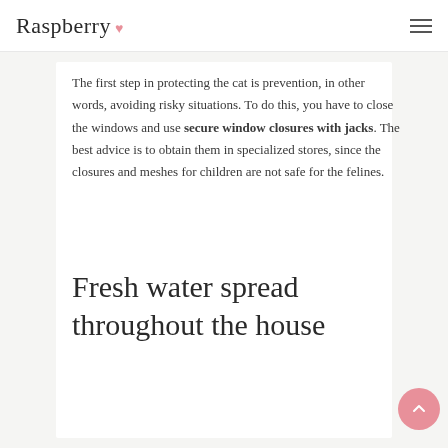Raspberry
The first step in protecting the cat is prevention, in other words, avoiding risky situations. To do this, you have to close the windows and use secure window closures with jacks. The best advice is to obtain them in specialized stores, since the closures and meshes for children are not safe for the felines.
Fresh water spread throughout the house